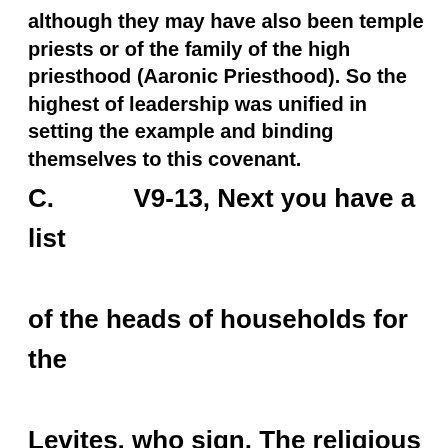although they may have also been temple priests or of the family of the high priesthood (Aaronic Priesthood). So the highest of leadership was unified in setting the example and binding themselves to this covenant.
C.          V9-13, Next you have a list of the heads of households for the Levites, who sign. The religious leaders set the example in religion. That might seem like common sense, but how few so called spiritual leaders